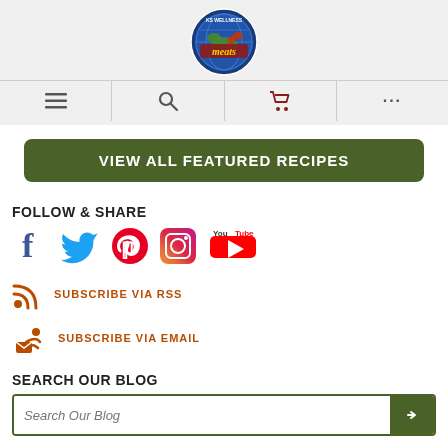[Figure (logo): KS Wellness Meats circular logo with globe and meat graphic]
[Figure (screenshot): Navigation icon bar with hamburger menu, search, cart, and ellipsis icons]
VIEW ALL FEATURED RECIPES
FOLLOW & SHARE
[Figure (infographic): Social media icons: Facebook, Twitter, Pinterest, Instagram, YouTube]
SUBSCRIBE VIA RSS
SUBSCRIBE VIA EMAIL
SEARCH OUR BLOG
Search Our Blog